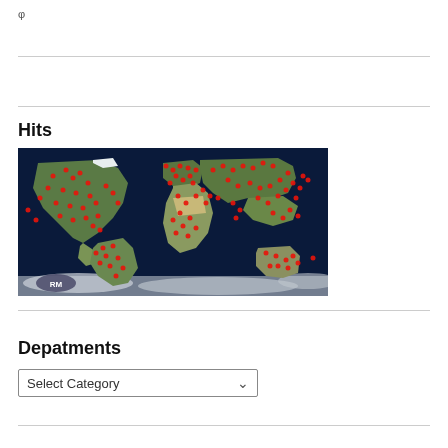φ
Hits
[Figure (map): World map with red dot markers indicating geographic hits distribution across continents. Dark blue ocean background with landmasses in earth tones. Red dots are clustered across North America, Europe, Asia, South America, and Australia. RM logo visible in lower-left corner.]
Depatments
Select Category